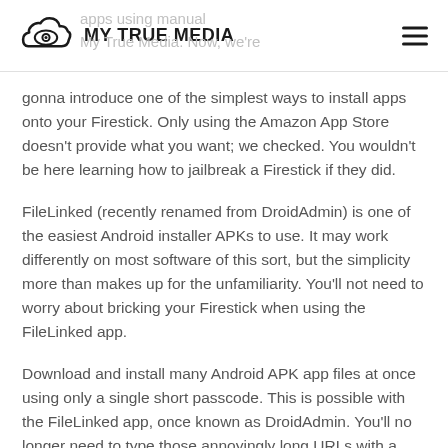MY TRUE MEDIA
gonna introduce one of the simplest ways to install apps onto your Firestick. Only using the Amazon App Store doesn't provide what you want; we checked. You wouldn't be here learning how to jailbreak a Firestick if they did.
FileLinked (recently renamed from DroidAdmin) is one of the easiest Android installer APKs to use. It may work differently on most software of this sort, but the simplicity more than makes up for the unfamiliarity. You'll not need to worry about bricking your Firestick when using the FileLinked app.
Download and install many Android APK app files at once using only a single short passcode. This is possible with the FileLinked app, once known as DroidAdmin. You'll no longer need to type those annoyingly long URLs with a